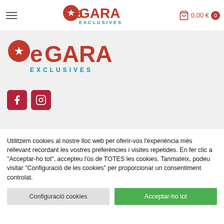eGARA EXCLUSIVES navigation bar with hamburger menu, logo, cart 0,00 €
[Figure (logo): eGARA Exclusives logo large - red text with star, teal EXCLUSIVES subtitle]
[Figure (illustration): Facebook and Instagram social media icon buttons in dark red]
Telf. 93 726 26 20
Utilitzem cookies al nostre lloc web per oferir-vos l'experiència més rellevant recordant les vostres preferències i visites repetides. En fer clic a "Acceptar-ho tot", accepteu l'ús de TOTES les cookies. Tanmateix, podeu visitar "Configuració de les cookies" per proporcionar un consentiment controlat.
Configuració cookies
Acceptar-ho tot